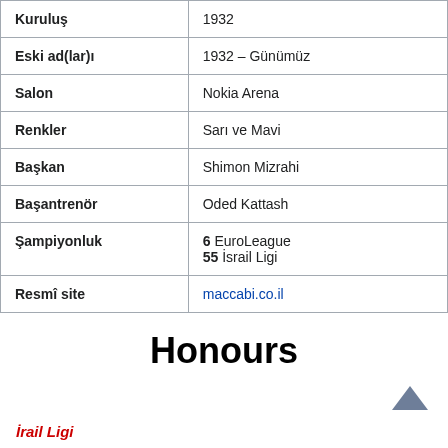|  |  |
| --- | --- |
| Kuruluş | 1932 |
| Eski ad(lar)ı | 1932 – Günümüz |
| Salon | Nokia Arena |
| Renkler | Sarı ve Mavi |
| Başkan | Shimon Mizrahi |
| Başantrenör | Oded Kattash |
| Şampiyonluk | 6 EuroLeague
55 İsrail Ligi |
| Resmî site | maccabi.co.il |
Honours
İrail Ligi